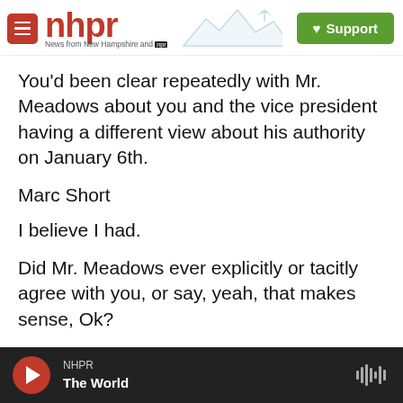[Figure (logo): NHPR logo with red hamburger menu icon, red 'nhpr' text, tagline 'News from New Hampshire and npr', mountain/radio tower illustration, and green Support button]
You'd been clear repeatedly with Mr. Meadows about you and the vice president having a different view about his authority on January 6th.
Marc Short
I believe I had.
Did Mr. Meadows ever explicitly or tacitly agree with you, or say, yeah, that makes sense, Ok?
MARC SHORT:
I believe that that Mark did agree.
[Figure (screenshot): NHPR audio player bar at bottom with red play button, station name NHPR, show name The World, and audio waveform icon]